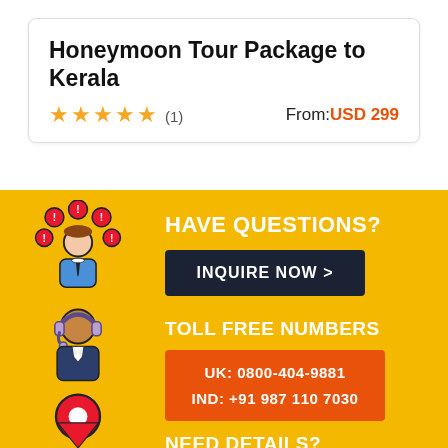Honeymoon Tour Package to Kerala
★★★★★ (1)   From: USD 299
HAVE QUESTIONS?
INQUIRE NOW >
TOLL FREE NUMBERS
UK: 0800-404-9881
IND: +91 987 110 7030
NEED DETAILS?